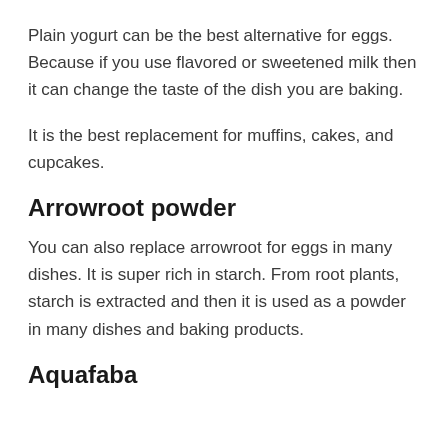Plain yogurt can be the best alternative for eggs. Because if you use flavored or sweetened milk then it can change the taste of the dish you are baking.
It is the best replacement for muffins, cakes, and cupcakes.
Arrowroot powder
You can also replace arrowroot for eggs in many dishes. It is super rich in starch. From root plants, starch is extracted and then it is used as a powder in many dishes and baking products.
Aquafaba